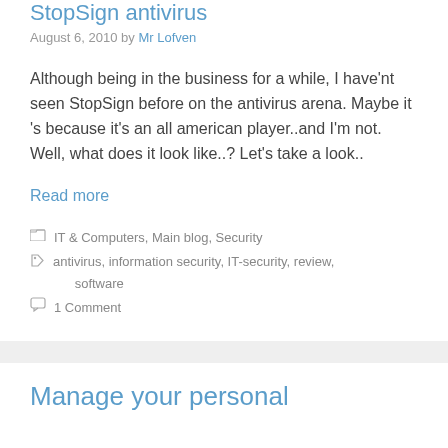StopSign antivirus
August 6, 2010 by Mr Lofven
Although being in the business for a while, I have'nt seen StopSign before on the antivirus arena. Maybe it 's because it's an all american player..and I'm not. Well, what does it look like..? Let's take a look..
Read more
IT & Computers, Main blog, Security
antivirus, information security, IT-security, review, software
1 Comment
Manage your personal